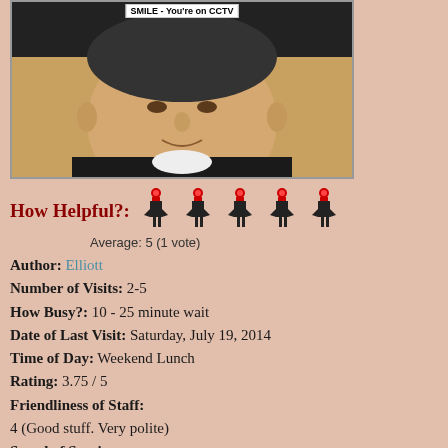[Figure (photo): CCTV photo of a person's face with 'SMILE - You're on CCTV' banner at top]
How Helpful?: [5 rooster icons] Average: 5 (1 vote)
Author: Elliott
Number of Visits: 2-5
How Busy?: 10 - 25 minute wait
Date of Last Visit: Saturday, July 19, 2014
Time of Day: Weekend Lunch
Rating: 3.75 / 5
Friendliness of Staff:
4 (Good stuff. Very polite)
Speed of Service:
3 (10 - 15 mins - Nando's average)
Quality of Food:
4 (Above average - noticeably tastier than normal)
Decoration & Cleanliness: